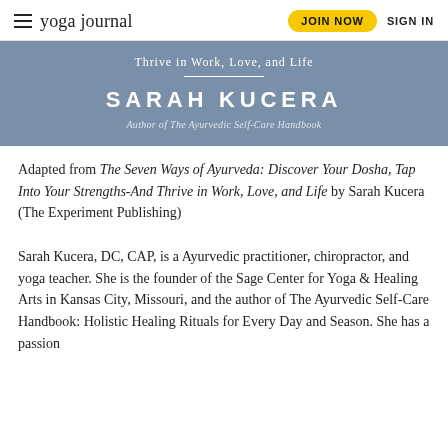yoga journal — JOIN NOW  SIGN IN
[Figure (illustration): Book banner with blue-grey background showing 'Thrive in Work, Love, and Life' subtitle, 'SARAH KUCERA' author name, and 'Author of The Ayurvedic Self-Care Handbook' byline]
Adapted from The Seven Ways of Ayurveda: Discover Your Dosha, Tap Into Your Strengths-And Thrive in Work, Love, and Life by Sarah Kucera (The Experiment Publishing)
Sarah Kucera, DC, CAP, is a Ayurvedic practitioner, chiropractor, and yoga teacher. She is the founder of the Sage Center for Yoga & Healing Arts in Kansas City, Missouri, and the author of The Ayurvedic Self-Care Handbook: Holistic Healing Rituals for Every Day and Season. She has a passion